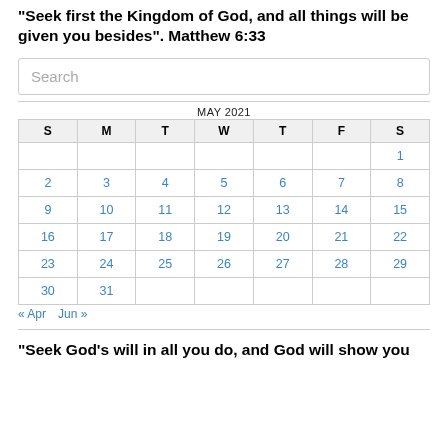“Seek first the Kingdom of God, and all things will be given you besides”. Matthew 6:33
[Figure (other): Search input box with placeholder text 'Search']
| S | M | T | W | T | F | S |
| --- | --- | --- | --- | --- | --- | --- |
|  |  |  |  |  |  | 1 |
| 2 | 3 | 4 | 5 | 6 | 7 | 8 |
| 9 | 10 | 11 | 12 | 13 | 14 | 15 |
| 16 | 17 | 18 | 19 | 20 | 21 | 22 |
| 23 | 24 | 25 | 26 | 27 | 28 | 29 |
| 30 | 31 |  |  |  |  |  |
« Apr   Jun »
“Seek God’s will in all you do, and God will show you